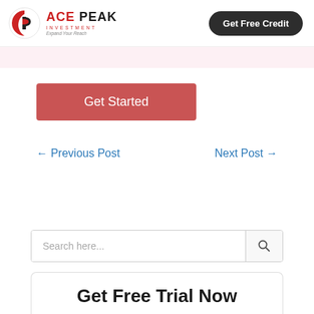ACE PEAK INVESTMENT — Expand Your Reach
[Figure (logo): Ace Peak Investment logo with red and dark circular icon and text]
Get Free Credit
Get Started
← Previous Post
Next Post →
Search here...
Get Free Trial Now